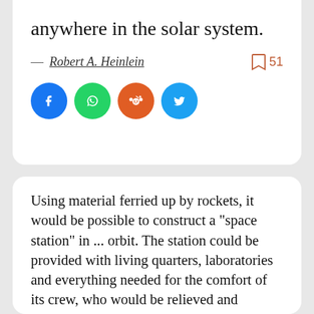anywhere in the solar system.
— Robert A. Heinlein   51
[Figure (other): Social share icons: Facebook, WhatsApp, Reddit, Twitter]
Using material ferried up by rockets, it would be possible to construct a "space station" in ... orbit. The station could be provided with living quarters, laboratories and everything needed for the comfort of its crew, who would be relieved and provisioned by a regular rocket service. (1945)
— Arthur C. Clarke   50
[Figure (other): Social share icons: Facebook, WhatsApp, Reddit, Twitter]